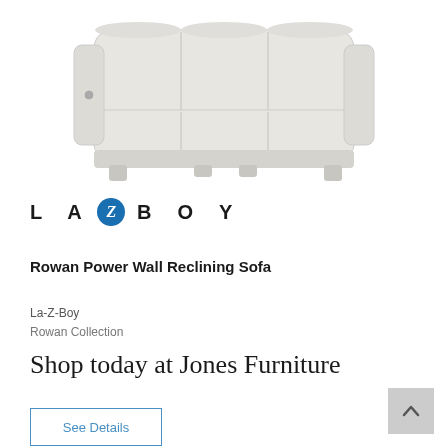[Figure (photo): A light gray/cream colored La-Z-Boy Rowan Power Wall Reclining Sofa shown from a slightly elevated front angle against a white background. The sofa has three reclining seats with tufted cushioning and power recline buttons on the outer arms.]
[Figure (logo): La-Z-Boy logo: text 'L A Z B O Y' with a blue circle containing a stylized italic Z replacing the standalone Z letter.]
Rowan Power Wall Reclining Sofa
La-Z-Boy
Rowan Collection
Shop today at Jones Furniture
See Details